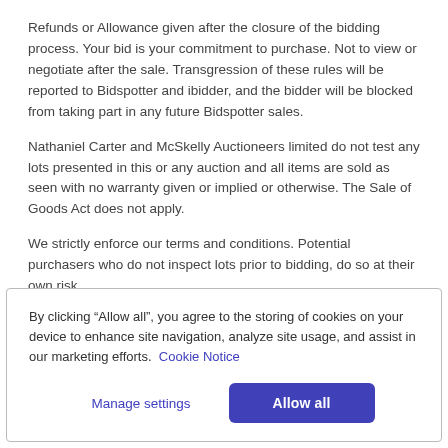Refunds or Allowance given after the closure of the bidding process. Your bid is your commitment to purchase. Not to view or negotiate after the sale. Transgression of these rules will be reported to Bidspotter and ibidder, and the bidder will be blocked from taking part in any future Bidspotter sales.
Nathaniel Carter and McSkelly Auctioneers limited do not test any lots presented in this or any auction and all items are sold as seen with no warranty given or implied or otherwise. The Sale of Goods Act does not apply.
We strictly enforce our terms and conditions. Potential purchasers who do not inspect lots prior to bidding, do so at their own risk.
By clicking “Allow all”, you agree to the storing of cookies on your device to enhance site navigation, analyze site usage, and assist in our marketing efforts.  Cookie Notice